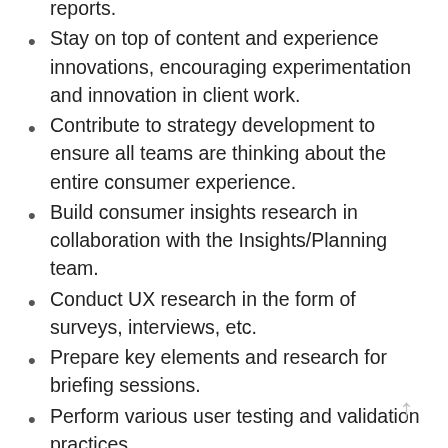reports.
Stay on top of content and experience innovations, encouraging experimentation and innovation in client work.
Contribute to strategy development to ensure all teams are thinking about the entire consumer experience.
Build consumer insights research in collaboration with the Insights/Planning team.
Conduct UX research in the form of surveys, interviews, etc.
Prepare key elements and research for briefing sessions.
Perform various user testing and validation practices.
Develop tangible/usable consumer